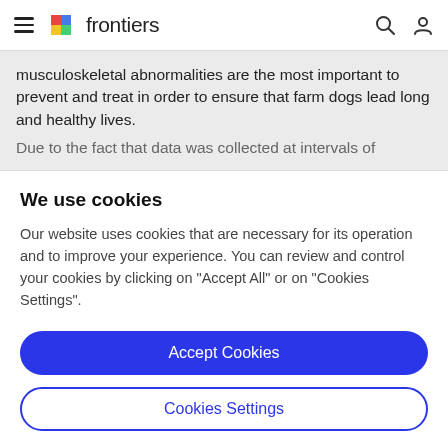frontiers
musculoskeletal abnormalities are the most important to prevent and treat in order to ensure that farm dogs lead long and healthy lives.
Due to the fact that data was collected at intervals of
We use cookies
Our website uses cookies that are necessary for its operation and to improve your experience. You can review and control your cookies by clicking on "Accept All" or on "Cookies Settings".
Accept Cookies
Cookies Settings